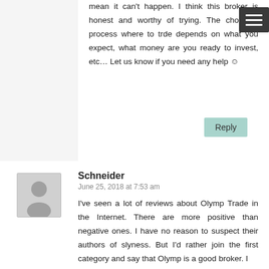mean it can't happen. I think this broker is honest and worthy of trying. The choosing process where to trde depends on what you expect, what money are you ready to invest, etc… Let us know if you need any help ☺
Reply
Schneider
June 25, 2018 at 7:53 am
I've seen a lot of reviews about Olymp Trade in the Internet. There are more positive than negative ones. I have no reason to suspect their authors of slyness. But I'd rather join the first category and say that Olymp is a good broker. I